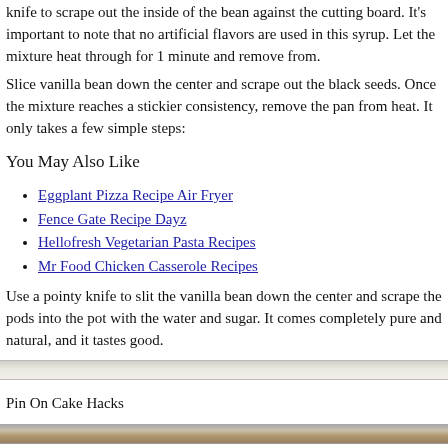knife to scrape out the inside of the bean against the cutting board. It’s important to note that no artificial flavors are used in this syrup. Let the mixture heat through for 1 minute and remove from.
Slice vanilla bean down the center and scrape out the black seeds. Once the mixture reaches a stickier consistency, remove the pan from heat. It only takes a few simple steps:
You May Also Like
Eggplant Pizza Recipe Air Fryer
Fence Gate Recipe Dayz
Hellofresh Vegetarian Pasta Recipes
Mr Food Chicken Casserole Recipes
Use a pointy knife to slit the vanilla bean down the center and scrape the pods into the pot with the water and sugar. It comes completely pure and natural, and it tastes good.
[Figure (photo): Horizontal image strip showing a blurred food/kitchen scene]
Pin On Cake Hacks
[Figure (photo): Horizontal image strip showing coffee/vanilla drink scene]
Creamy Vanilla Iced Coffee Homemade Vanilla Syrup Vanilla Iced Coffee Recipe Ice Coffee Recipe Vanilla Iced Coffee